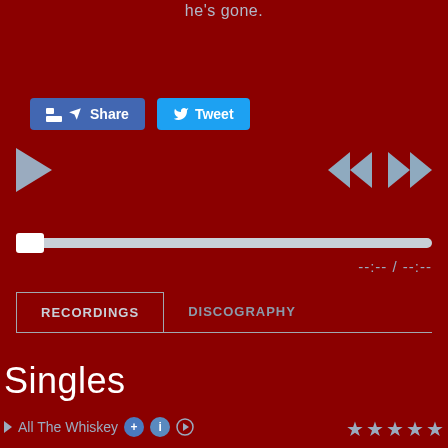he's gone.
[Figure (screenshot): Social media share buttons: Facebook Share button and Twitter Tweet button]
[Figure (screenshot): Audio player controls: play button (triangle), rewind (double left arrows), fast forward (double right arrows)]
[Figure (screenshot): Audio progress bar with white thumb slider at the start position]
--:-- / --:--
[Figure (screenshot): Navigation tabs: RECORDINGS (active, with border) and DISCOGRAPHY]
Singles
▶ All The Whiskey [+] [i] [→]
[Figure (other): Five star rating icons in grey/silver color]